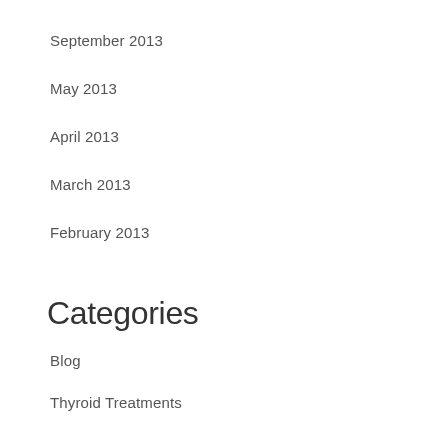September 2013
May 2013
April 2013
March 2013
February 2013
Categories
Blog
Thyroid Treatments